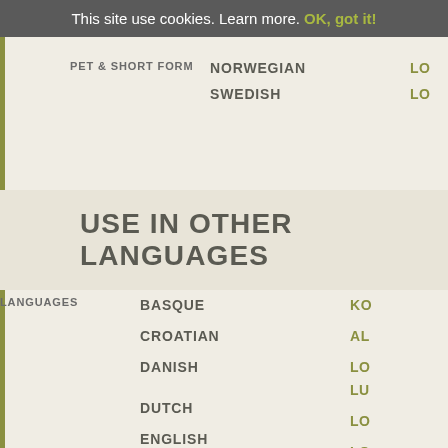This site use cookies. Learn more. OK, got it!
PET & SHORT FORM   NORWEGIAN   LO
SWEDISH   LO
USE IN OTHER LANGUAGES
| LANGUAGES |  |  |
| --- | --- | --- |
|  | BASQUE | KO |
|  | CROATIAN | AL |
|  | DANISH | LO LU |
|  | DUTCH | LO |
|  | ENGLISH | LO |
|  | ESPERANTO | LU |
|  | FAROESE | LO |
|  | FINNISH | LU LO |
|  | FRENCH | LO |